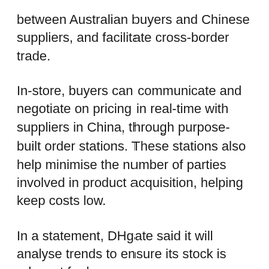between Australian buyers and Chinese suppliers, and facilitate cross-border trade.
In-store, buyers can communicate and negotiate on pricing in real-time with suppliers in China, through purpose-built order stations. These stations also help minimise the number of parties involved in product acquisition, helping keep costs low.
In a statement, DHgate said it will analyse trends to ensure its stock is relevant for buyers.
“DTC [digital trade centre] stock is attuned to the rapidly changing product cycles,